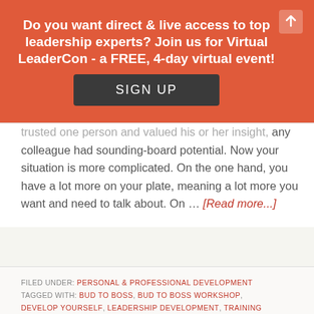Do you want direct & live access to top leadership experts? Join us for Virtual LeaderCon - a FREE, 4-day virtual event!
SIGN UP
trusted one person and valued his or her insight, any colleague had sounding-board potential. Now your situation is more complicated. On the one hand, you have a lot more on your plate, meaning a lot more you want and need to talk about. On … [Read more...]
FILED UNDER: PERSONAL & PROFESSIONAL DEVELOPMENT
TAGGED WITH: BUD TO BOSS, BUD TO BOSS WORKSHOP, DEVELOP YOURSELF, LEADERSHIP DEVELOPMENT, TRAINING